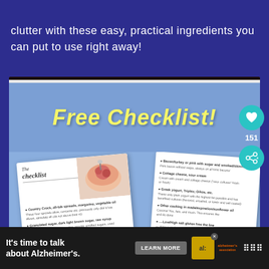clutter with these easy, practical ingredients you can put to use right away!
[Figure (illustration): Promotional image showing a 'Free Checklist!' banner in yellow italic text on a blue background, with two overlapping white checklist document cards below it on a blue background. The left card shows 'The checklist' script title with a food bowl photo and numbered list items. The right card shows another portion of the checklist with numbered items.]
It's time to talk about Alzheimer's. LEARN MORE